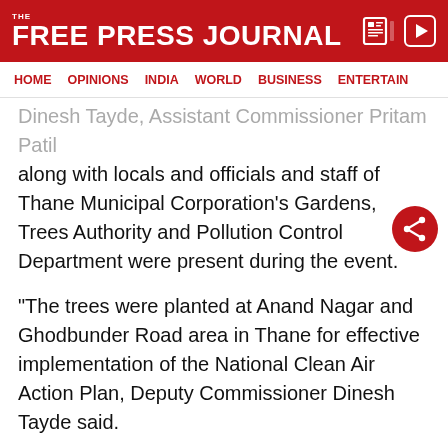THE FREE PRESS JOURNAL
HOME | OPINIONS | INDIA | WORLD | BUSINESS | ENTERTAIN
Dinesh Tayde, Assistant Commissioner Pritam Patil along with locals and officials and staff of Thane Municipal Corporation's Gardens, Trees Authority and Pollution Control Department were present during the event.
"The trees were planted at Anand Nagar and Ghodbunder Road area in Thane for effective implementation of the National Clean Air Action Plan, Deputy Commissioner Dinesh Tayde said.
ADVERTISEMENT